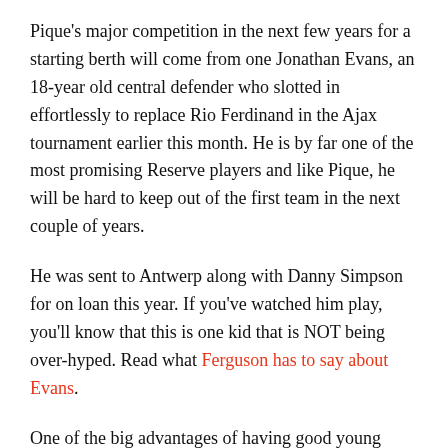Pique's major competition in the next few years for a starting berth will come from one Jonathan Evans, an 18-year old central defender who slotted in effortlessly to replace Rio Ferdinand in the Ajax tournament earlier this month. He is by far one of the most promising Reserve players and like Pique, he will be hard to keep out of the first team in the next couple of years.
He was sent to Antwerp along with Danny Simpson for on loan this year. If you've watched him play, you'll know that this is one kid that is NOT being over-hyped. Read what Ferguson has to say about Evans.
One of the big advantages of having good young players coming through is that you can easily replace the cruft in your squad. The problem with Manchester United is that we already have a good crop of young defenders in our squad.